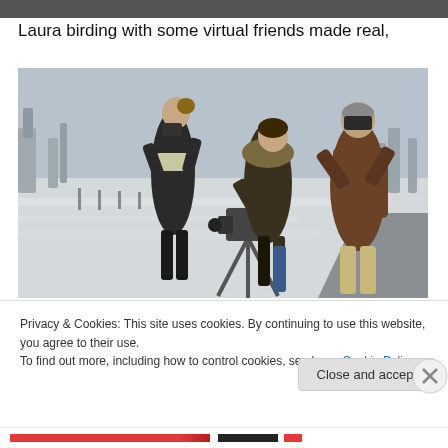[Figure (photo): Narrow dark-colored top image bar at the very top of the page]
Laura birding with some virtual friends made real,
[Figure (photo): Three people bird-watching outdoors in a wintry frost-covered field. One woman on the left holds binoculars, a second woman in the center operates a large camera on a tripod, and a man on the right also looks through binoculars. Trees, flat fields, and a road are visible in a cold, overcast winter scene.]
Privacy & Cookies: This site uses cookies. By continuing to use this website, you agree to their use.
To find out more, including how to control cookies, see here: Cookie Policy
Close and accept